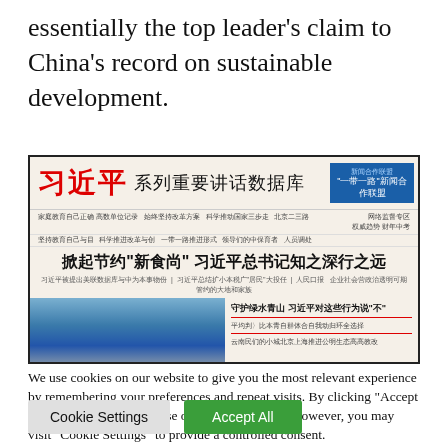essentially the top leader's claim to China's record on sustainable development.
[Figure (screenshot): Screenshot of a Chinese news website (People's Daily style) featuring Xi Jinping series speeches database, with headline about frugality and environmental protection articles.]
We use cookies on our website to give you the most relevant experience by remembering your preferences and repeat visits. By clicking "Accept All", you consent to the use of ALL the cookies. However, you may visit "Cookie Settings" to provide a controlled consent.
Cookie Settings    Accept All